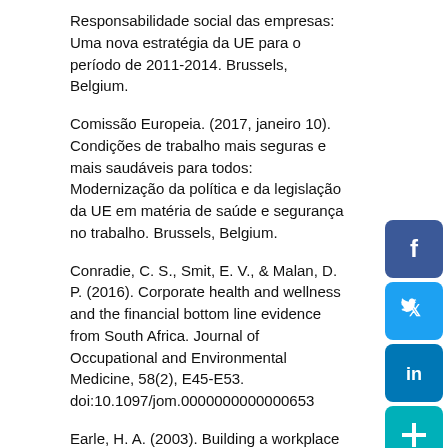Responsabilidade social das empresas: Uma nova estratégia da UE para o período de 2011-2014. Brussels, Belgium.
Comissão Europeia. (2017, janeiro 10). Condições de trabalho mais seguras e mais saudáveis para todos: Modernização da política e da legislação da UE em matéria de saúde e segurança no trabalho. Brussels, Belgium.
Conradie, C. S., Smit, E. V., & Malan, D. P. (2016). Corporate health and wellness and the financial bottom line evidence from South Africa. Journal of Occupational and Environmental Medicine, 58(2), E45-E53. doi:10.1097/jom.0000000000000653
Earle, H. A. (2003). Building a workplace of choice: Using the work environment to attract and retain top talent. Journal of Facilities Management, 2(3), 244-257. doi:10.1108/14725960410808230
Eng, L. L., & Mak, Y. T. (2003). Corporate governance and voluntary disclosure. Journal of Accounting and Public Policy, 22(4), 325-345. doi:10.1016/s0278-